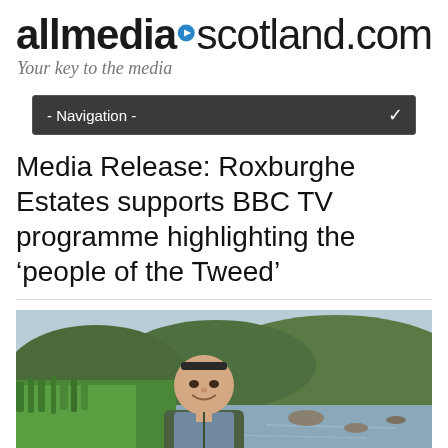allmedia▶scotland.com — Your key to the media
- Navigation -
Media Release: Roxburghe Estates supports BBC TV programme highlighting the 'people of the Tweed'
[Figure (photo): Man standing outdoors by the River Tweed, smiling at camera, wearing a green gilet and blue t-shirt. Lush green grass and trees in the background with the river and rocky banks visible.]